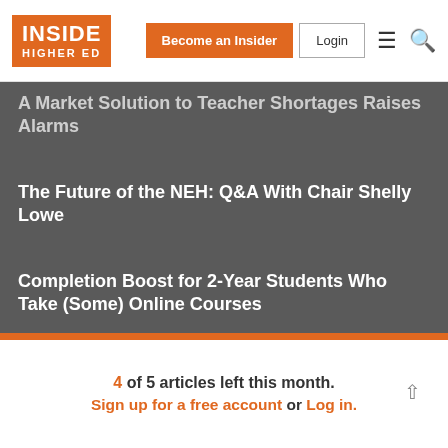Inside Higher Ed — Become an Insider | Login
A Market Solution to Teacher Shortages Raises Alarms
The Future of the NEH: Q&A With Chair Shelly Lowe
Completion Boost for 2-Year Students Who Take (Some) Online Courses
4 of 5 articles left this month. Sign up for a free account or Log in.